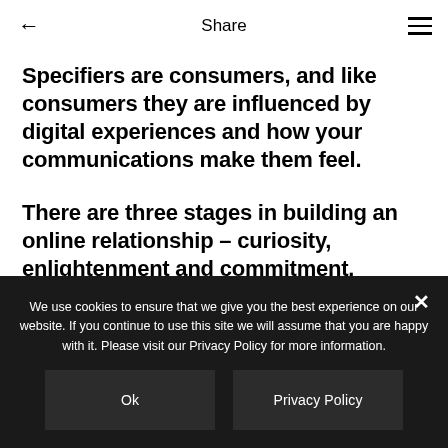← Share ≡
Specifiers are consumers, and like consumers they are influenced by digital experiences and how your communications make them feel.
There are three stages in building an online relationship – curiosity, enlightenment and commitment.
We use cookies to ensure that we give you the best experience on our website. If you continue to use this site we will assume that you are happy with it. Please visit our Privacy Policy for more information.
Ok
Privacy Policy